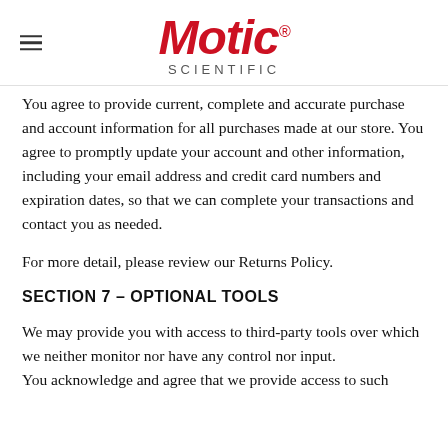Motic Scientific
You agree to provide current, complete and accurate purchase and account information for all purchases made at our store. You agree to promptly update your account and other information, including your email address and credit card numbers and expiration dates, so that we can complete your transactions and contact you as needed.
For more detail, please review our Returns Policy.
SECTION 7 - OPTIONAL TOOLS
We may provide you with access to third-party tools over which we neither monitor nor have any control nor input. You acknowledge and agree that we provide access to such tools "as is" and "as available" without any warranties,